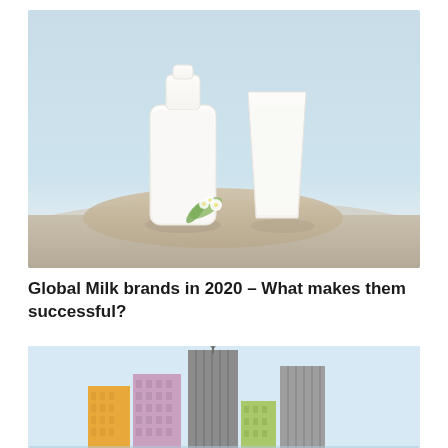[Figure (photo): Photo of a glass milk bottle and a glass of milk on a burlap mat with small white flowers, set against a pale blue background on a wooden surface.]
Global Milk brands in 2020 – What makes them successful?
[Figure (illustration): Infographic illustration showing a city skyline with colorful stylized buildings (orange, pink/mauve, gray skyscraper, green, and another gray tower) against a light blue background.]